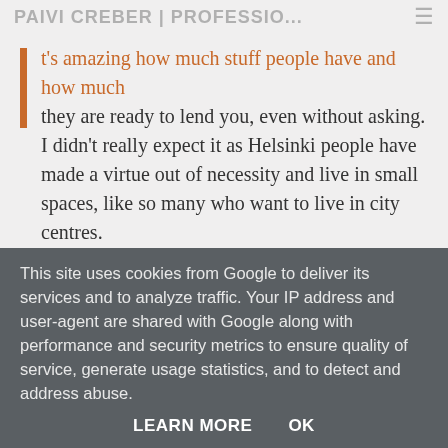PAIVI CREBER | PROFESSIO...
It's amazing how much stuff people have and how much they are ready to lend you, even without asking. I didn't really expect it as Helsinki people have made a virtue out of necessity and live in small spaces, like so many who want to live in city centres.
As a result, and with many thanks, we've furnished a one-bedroom flat with minimum stuff, cost and hassle. Also very much thanks to mum, sister, brother-in-law and friends for
This site uses cookies from Google to deliver its services and to analyze traffic. Your IP address and user-agent are shared with Google along with performance and security metrics to ensure quality of service, generate usage statistics, and to detect and address abuse.
LEARN MORE   OK